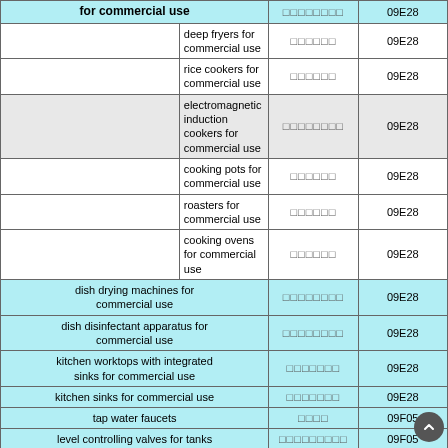| Description | Japanese | Code |
| --- | --- | --- |
| for commercial use | □□□□□□□□ | 09E28 |
| deep fryers for commercial use | □□□□□□ | 09E28 |
| rice cookers for commercial use | □□□□□□ | 09E28 |
| electromagnetic induction cookers for commercial use | □□□□□□□□ | 09E28 |
| cooking pots for commercial use | □□□□□□ | 09E28 |
| roasters for commercial use | □□□□□□ | 09E28 |
| cooking ovens for commercial use | □□□□□□ | 09E28 |
| dish drying machines for commercial use | □□□□□□□□ | 09E28 |
| dish disinfectant apparatus for commercial use | □□□□□□□□ | 09E28 |
| kitchen worktops with integrated sinks for commercial use | □□□□□□□ | 09E28 |
| kitchen sinks for commercial use | □□□□□□□ | 09E28 |
| tap water faucets | □□□□ | 09F05 |
| level controlling valves for tanks | □□□□□□□□□ | 09F05 |
| pipe line cocks | □□□□□□□□ | 09F05 |
| waste water treatment tanks for industrial purposes | □□□□□ | 09G57 |
| septic tanks for industrial purposes | □□□□□ | 09G57 |
| garbage incinerators | □□□□□ | 09G58 19B48 |
| garbage incinerators for industrial purposes | □□□□□□□□ | 09G58 |